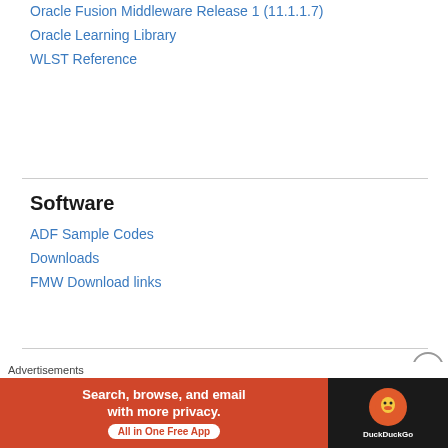Oracle Fusion Middleware Release 1 (11.1.1.7)
Oracle Learning Library
WLST Reference
Software
ADF Sample Codes
Downloads
FMW Download links
White Paper
ADF Javascript Partitioning
ADF Troubleshooting
SOA Installation
Advertisements
[Figure (other): DuckDuckGo advertisement banner: 'Search, browse, and email with more privacy. All in One Free App' with DuckDuckGo logo on dark background]